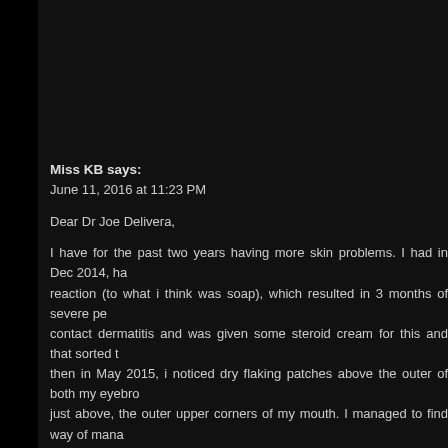Miss KB says:
June 11, 2016 at 11:23 PM
Dear Dr Joe Delivera,
I have for the past two years having more skin problems. I had in Dec 2014, had a reaction (to what i think was soap), which resulted in 3 months of severe perioral contact dermatitis and was given some steroid cream for this and that sorted it, then in May 2015, i noticed dry flaking patches above the outer of both my eyebrows just above, the outer upper corners of my mouth. I managed to find way of managing through washing my face with sea salt and then wash with Aveeno (commercial cream by Johnson & Johnsons)...but on my right side upper eyebrow area, i have a patch that refuses to clear, is itchy and looks like eczema. Also i had another allergic reaction to a balm product in Dec 2015 and had lots of flaking, dryness and redness, now in June, still dry with some flakiness. I feel self conscious as the dryness looks very pale and draws attention to the upper lip area. Since last week i have been searching internet and came across your recommendations and thought i would try the Arnica wet dose. Since last Tuesday i have been using this, but have not seen any improvement yet-have been doing it twice a day and will continue to do so. I was to ask your view in that do you think i have a particularly stubborn case and any recommendations if you feel that is appropriate for me to try.